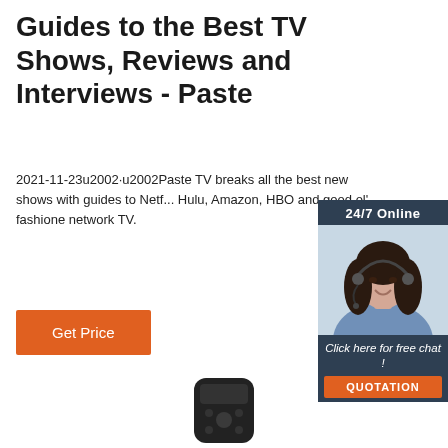Guides to the Best TV Shows, Reviews and Interviews - Paste
2021-11-23u2002·u2002Paste TV breaks all the best new shows with guides to Netf... Hulu, Amazon, HBO and good ol' fashione network TV.
Get Price
[Figure (infographic): Customer service advertisement widget with dark blue background, showing a woman with a headset, '24/7 Online' text at top, 'Click here for free chat!' text, and an orange 'QUOTATION' button at the bottom.]
[Figure (photo): Partial image of a dark TV remote control at the bottom of the page.]